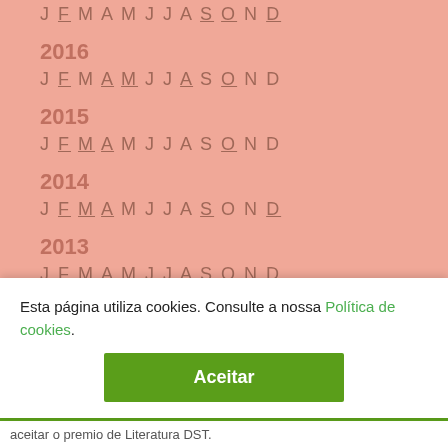J F M A M J J A S O N D
2016
J F M A M J J A S O N D
2015
J F M A M J J A S O N D
2014
J F M A M J J A S O N D
2013
J F M A M J J A S O N D
2012
J F M A M J J A S O N D
Esta página utiliza cookies. Consulte a nossa Política de cookies.
Aceitar
aceitar o premio de Literatura DST.